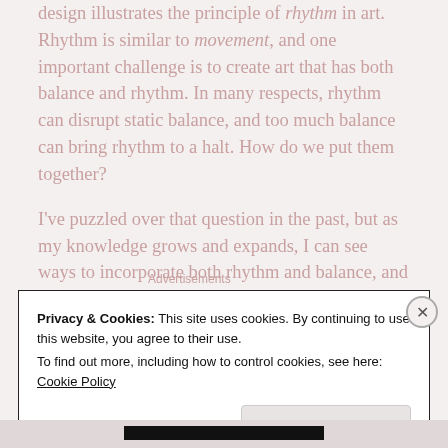design illustrates the principle of rhythm in art. Rhythm is similar to movement, and one important challenge is to create art that has both balance and rhythm. In many respects, rhythm can disrupt static balance, and too much balance can bring rhythm to a halt. How do we put them together?
I've puzzled over that question in the past, but as my knowledge grows and expands, I can see ways to incorporate both rhythm and balance, and I hope I've done that with my illustration today.
Advertisements
Privacy & Cookies: This site uses cookies. By continuing to use this website, you agree to their use.
To find out more, including how to control cookies, see here: Cookie Policy
Close and accept